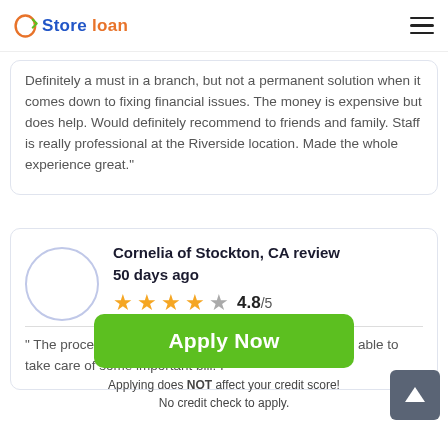Store loan
Definitely a must in a branch, but not a permanent solution when it comes down to fixing financial issues. The money is expensive but does help. Would definitely recommend to friends and family. Staff is really professional at the Riverside location. Made the whole experience great."
Cornelia of Stockton, CA review 50 days ago
4.8/5
" The process was easy, and the loan helped me. I was able to take care of some important bill. I
Apply Now
Applying does NOT affect your credit score!
No credit check to apply.